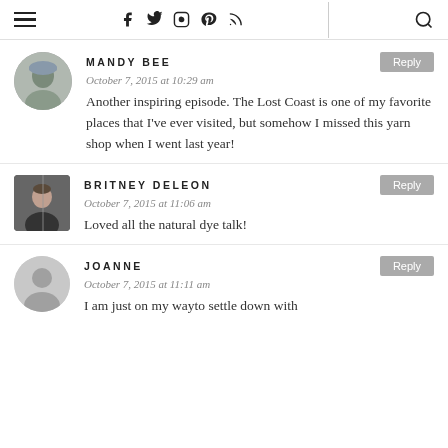Navigation header with hamburger menu, social icons (Facebook, Twitter, Instagram, Pinterest, RSS), and search icon
MANDY BEE — October 7, 2015 at 10:29 am — Another inspiring episode. The Lost Coast is one of my favorite places that I've ever visited, but somehow I missed this yarn shop when I went last year!
BRITNEY DELEON — October 7, 2015 at 11:06 am — Loved all the natural dye talk!
JOANNE — October 7, 2015 at 11:11 am — I am just on my wayto settle down with